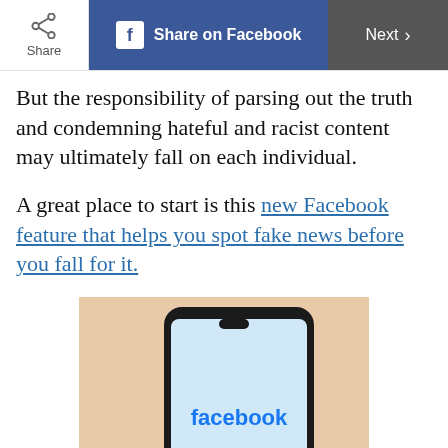Share | Share on Facebook | Next
But the responsibility of parsing out the truth and condemning hateful and racist content may ultimately fall on each individual.
A great place to start is this new Facebook feature that helps you spot fake news before you fall for it.
[Figure (photo): A hand holding a smartphone displaying the Facebook logo on a light orange/peach background.]